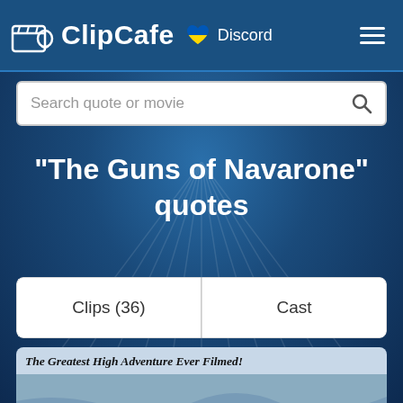ClipCafe Discord
Search quote or movie
"The Guns of Navarone" quotes
Clips (36)   Cast
[Figure (photo): Movie poster for The Guns of Navarone with tagline 'The Greatest High Adventure Ever Filmed!' showing adventurers in a stormy sea scene]